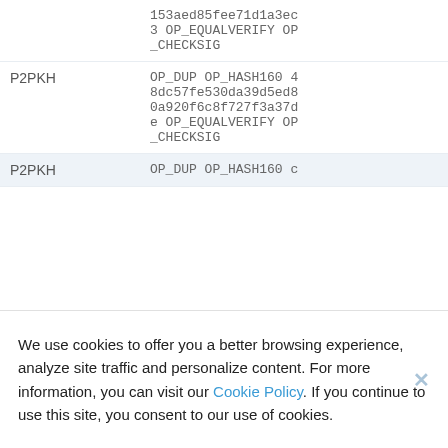| Type | Script |
| --- | --- |
|  | 153aed85fee71d1a3ec3 OP_EQUALVERIFY OP_CHECKSIG |
| P2PKH | OP_DUP OP_HASH160 48dc57fe530da39d5ed80a920f6c8f727f3a37de OP_EQUALVERIFY OP_CHECKSIG |
| P2PKH | OP_DUP OP_HASH160 c |
We use cookies to offer you a better browsing experience, analyze site traffic and personalize content. For more information, you can visit our Cookie Policy. If you continue to use this site, you consent to our use of cookies.